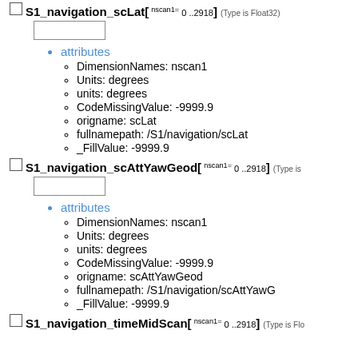S1_navigation_scLat[ nscan1= 0 ..2918] (Type is Float32)
attributes
DimensionNames: nscan1
Units: degrees
units: degrees
CodeMissingValue: -9999.9
origname: scLat
fullnamepath: /S1/navigation/scLat
_FillValue: -9999.9
S1_navigation_scAttYawGeod[ nscan1= 0 ..2918] (Type is Float32)
attributes
DimensionNames: nscan1
Units: degrees
units: degrees
CodeMissingValue: -9999.9
origname: scAttYawGeod
fullnamepath: /S1/navigation/scAttYawG
_FillValue: -9999.9
S1_navigation_timeMidScan[ nscan1= 0 ..2918] (Type is Float32)